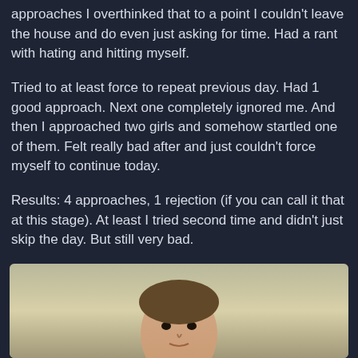approaches I overthinked that to a point I couldn't leave the house and do even just asking for time. Had a rant with hating and hitting myself.
Tried to at least force to repeat previous day. Had 1 good approach. Next one completely ignored me. And then I approached two girls and somehow startled one of them. Felt really bad after and just couldn't force myself to continue today.
Results: 4 approaches, 1 rejection (if you can call it that at this stage). At least I tried second time and didn't just skip the day. But still very bad.
Logging cause I still attempted this day.
VLOG:
[Figure (screenshot): Video thumbnail with dark overlay showing 'RSG'S AA VLOG #3 Day 6a' with avatar icon and three-dot menu, over a face/portrait image]